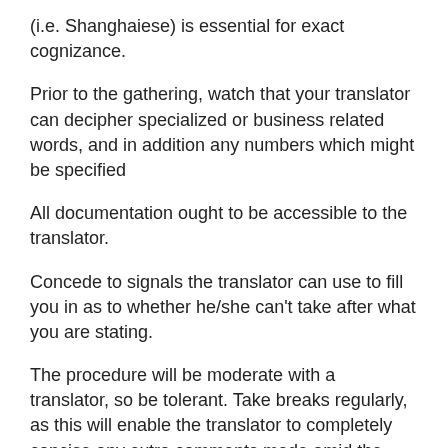(i.e. Shanghaiese) is essential for exact cognizance.
Prior to the gathering, watch that your translator can decipher specialized or business related words, and in addition any numbers which might be specified
All documentation ought to be accessible to the translator.
Concede to signals the translator can use to fill you in as to whether he/she can't take after what you are stating.
The procedure will be moderate with a translator, so be tolerant. Take breaks regularly, as this will enable the translator to completely concise any extra comments made amid the discussion.
In the event that your interpreter?s sentences are